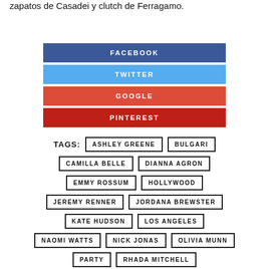zapatos de Casadei y clutch de Ferragamo.
[Figure (infographic): Four social share buttons: FACEBOOK (dark blue), TWITTER (sky blue), GOOGLE (red-orange), PINTEREST (dark red)]
TAGS: ASHLEY GREENE, BULGARI, CAMILLA BELLE, DIANNA AGRON, EMMY ROSSUM, HOLLYWOOD, JEREMY RENNER, JORDANA BREWSTER, KATE HUDSON, LOS ANGELES, NAOMI WATTS, NICK JONAS, OLIVIA MUNN, PARTY, RHADA MITCHELL